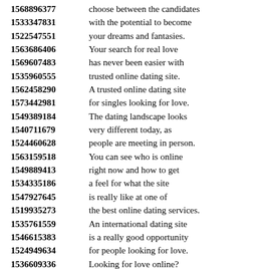1568896377 choose between the candidates
1533347831 with the potential to become
1522547551 your dreams and fantasies.
1563686406 Your search for real love
1569607483 has never been easier with
1535960555 trusted online dating site.
1562458290 A trusted online dating site
1573442981 for singles looking for love.
1549389184 The dating landscape looks
1540711679 very different today, as
1524460628 people are meeting in person.
1563159518 You can see who is online
1549889413 right now and how to get
1534335186 a feel for what the site
1547927645 is really like at one of
1519935273 the best online dating services.
1535761559 An international dating site
1546615383 is a really good opportunity
1524949634 for people looking for love.
1536609336 Looking for love online?
1541565842 You’ve come to the right place.
1594692991 Sharing the success story,
1530464547 we are here to support you
1520175574 in your search for love!
1532512615 Our website has helped